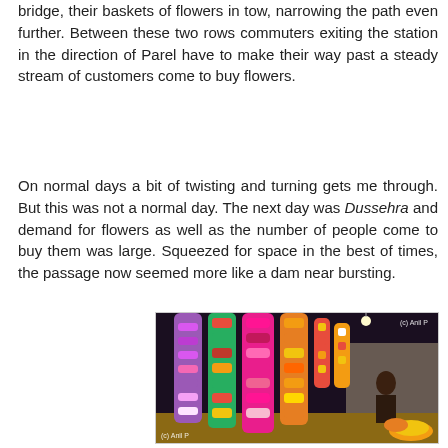bridge, their baskets of flowers in tow, narrowing the path even further. Between these two rows commuters exiting the station in the direction of Parel have to make their way past a steady stream of customers come to buy flowers.
On normal days a bit of twisting and turning gets me through. But this was not a normal day. The next day was Dussehra and demand for flowers as well as the number of people come to buy them was large. Squeezed for space in the best of times, the passage now seemed more like a dam near bursting.
[Figure (photo): A photo of colorful flower garlands and arrangements hanging in a flower market shop, with people visible in the background. Watermark reads (c) Anil P in top right and bottom left.]